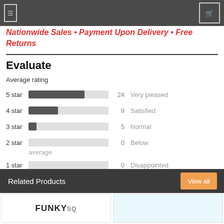Nationwide Sales • Payment Upon Delivery • Free Returns
Evaluate
Average rating
[Figure (bar-chart): Average rating]
See where to sell
Related Products
View all